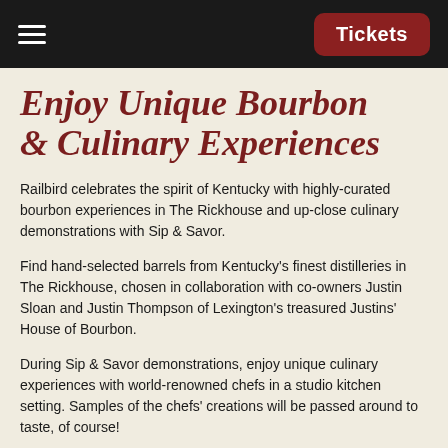Tickets
Enjoy Unique Bourbon & Culinary Experiences
Railbird celebrates the spirit of Kentucky with highly-curated bourbon experiences in The Rickhouse and up-close culinary demonstrations with Sip & Savor.
Find hand-selected barrels from Kentucky's finest distilleries in The Rickhouse, chosen in collaboration with co-owners Justin Sloan and Justin Thompson of Lexington's treasured Justins' House of Bourbon.
During Sip & Savor demonstrations, enjoy unique culinary experiences with world-renowned chefs in a studio kitchen setting. Samples of the chefs' creations will be passed around to taste, of course!